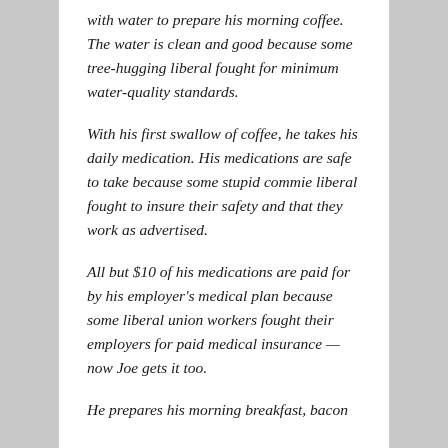with water to prepare his morning coffee. The water is clean and good because some tree-hugging liberal fought for minimum water-quality standards.
With his first swallow of coffee, he takes his daily medication. His medications are safe to take because some stupid commie liberal fought to insure their safety and that they work as advertised.
All but $10 of his medications are paid for by his employer's medical plan because some liberal union workers fought their employers for paid medical insurance — now Joe gets it too.
He prepares his morning breakfast, bacon